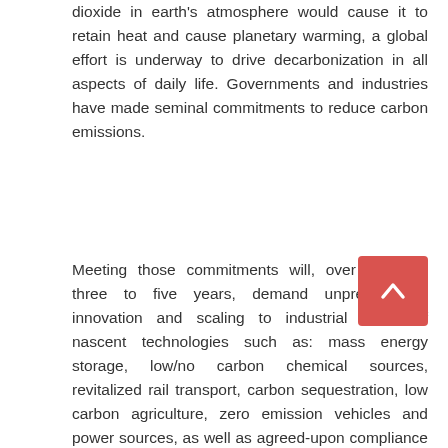dioxide in earth's atmosphere would cause it to retain heat and cause planetary warming, a global effort is underway to drive decarbonization in all aspects of daily life. Governments and industries have made seminal commitments to reduce carbon emissions.
Meeting those commitments will, over the next three to five years, demand unprecedented innovation and scaling to industrial levels of nascent technologies such as: mass energy storage, low/no carbon chemical sources, revitalized rail transport, carbon sequestration, low carbon agriculture, zero emission vehicles and power sources, as well as agreed-upon compliance monitoring on a global scale.
[Figure (other): A reddish-pink scroll-to-top button with an upward-pointing chevron arrow, positioned in the lower-right area of the page.]